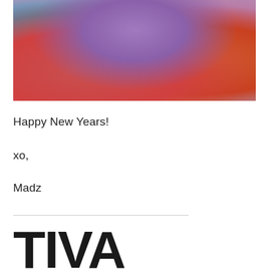[Figure (photo): Photo of a child or person wearing purple clothing, with colorful chalk art background featuring reds, blues, yellows, and pinks.]
Happy New Years!
xo,
Madz
[Figure (logo): Partial logo text reading 'TIVA' in large bold black letters, cropped at right edge.]